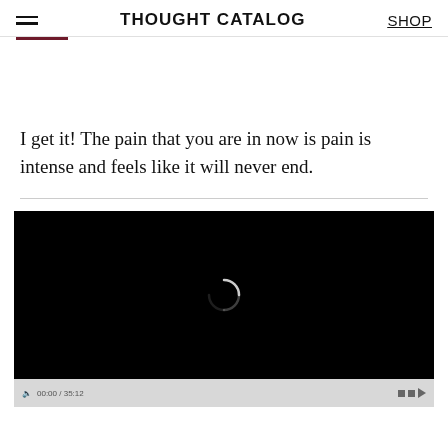THOUGHT CATALOG | SHOP
I get it! The pain that you are in now is pain is intense and feels like it will never end.
[Figure (screenshot): Video player with black screen and loading spinner, showing timestamp 00:00 / 35:12 and video controls at the bottom]